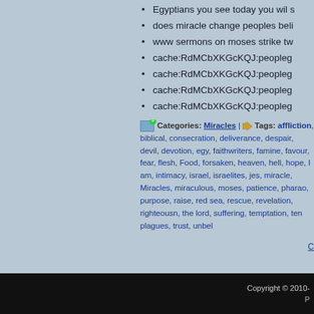Egyptians you see today you wil s
does miracle change peoples beli
www sermons on moses strike tw
cache:RdMCbXKGcKQJ:peopleg
cache:RdMCbXKGcKQJ:peopleg
cache:RdMCbXKGcKQJ:peopleg
cache:RdMCbXKGcKQJ:peopleg
Categories: Miracles | Tags: affliction, biblical, consecration, deliverance, despair, devil, devotion, egy, faithwriters, famine, favour, fear, flesh, Food, forsaken, heaven, hell, hope, I am, intimacy, israel, israelites, jes, miracle, Miracles, miraculous, moses, patience, pharao, purpose, raise, red sea, rescue, revelation, righteousn, the lord, suffering, temptation, ten plagues, trust, unbel
C
« Lord, Help Me
Copyright © 2010-
P